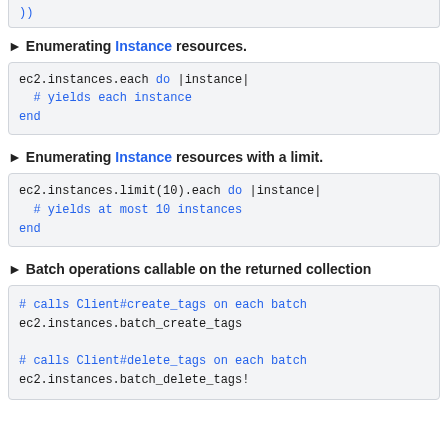))
► Enumerating Instance resources.
► Enumerating Instance resources with a limit.
► Batch operations callable on the returned collection